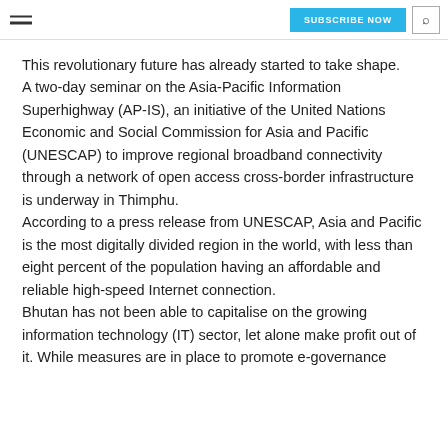SUBSCRIBE NOW [search icon]
This revolutionary future has already started to take shape.
A two-day seminar on the Asia-Pacific Information Superhighway (AP-IS), an initiative of the United Nations Economic and Social Commission for Asia and Pacific (UNESCAP) to improve regional broadband connectivity through a network of open access cross-border infrastructure is underway in Thimphu.
According to a press release from UNESCAP, Asia and Pacific is the most digitally divided region in the world, with less than eight percent of the population having an affordable and reliable high-speed Internet connection.
Bhutan has not been able to capitalise on the growing information technology (IT) sector, let alone make profit out of it. While measures are in place to promote e-governance